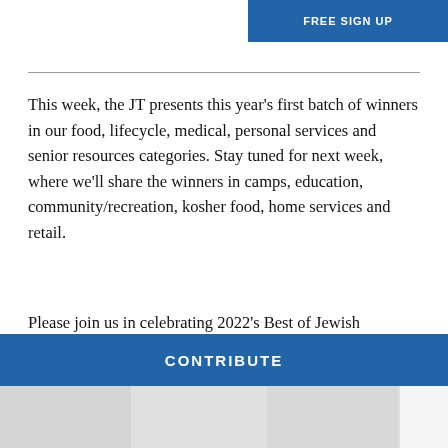[Figure (other): Blue FREE SIGN UP button bar at top right]
This week, the JT presents this year’s first batch of winners in our food, lifecycle, medical, personal services and senior resources categories. Stay tuned for next week, where we’ll share the winners in camps, education, community/recreation, kosher food, home services and retail.
Please join us in celebrating 2022’s Best of Jewish Baltimore.
Enjoy!
BALTIMORE JEWISH TIMES IS HERE FOR YOU
Your voluntary contribution supports our efforts to deliver content that engages and helps strengthen the Jewish community in the greater Baltimore area.
[Figure (other): Blue CONTRIBUTE button bar]
[Figure (other): Gray image strip at bottom]